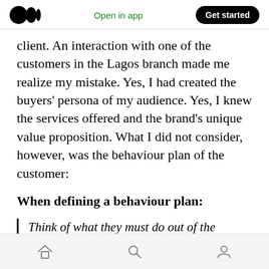Open in app | Get started
client. An interaction with one of the customers in the Lagos branch made me realize my mistake. Yes, I had created the buyers' persona of my audience. Yes, I knew the services offered and the brand's unique value proposition. What I did not consider, however, was the behaviour plan of the customer:
When defining a behaviour plan:
Think of what they must do out of the product, not just in it.
Home | Search | Profile